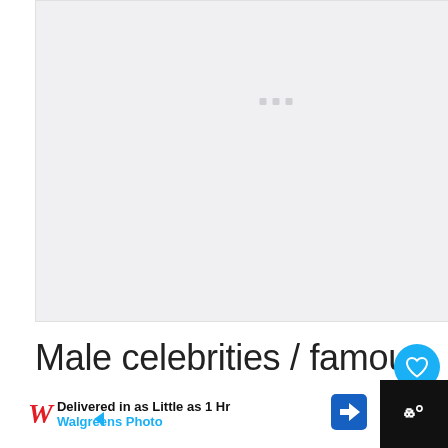[Figure (other): Advertisement placeholder area with light gray background and three small gray square dots centered near the top]
Male celebrities / famous figures that were born in September include: Keanu Reeves, Charlie
[Figure (other): Walgreens Photo advertisement banner: 'Delivered in as Little as 1 Hr' with Walgreens Photo logo and blue navigation arrow icon]
[Figure (other): Dark bottom bar with WW° icon on the right]